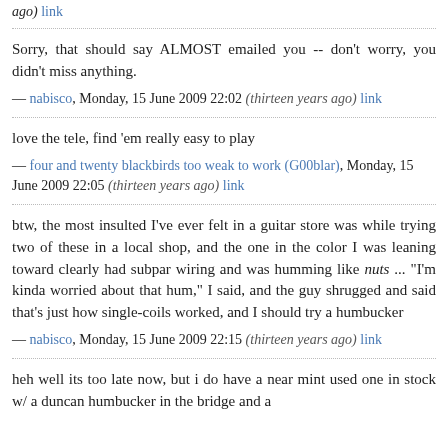ago) link
Sorry, that should say ALMOST emailed you -- don't worry, you didn't miss anything.
— nabisco, Monday, 15 June 2009 22:02 (thirteen years ago) link
love the tele, find 'em really easy to play
— four and twenty blackbirds too weak to work (G00blar), Monday, 15 June 2009 22:05 (thirteen years ago) link
btw, the most insulted I've ever felt in a guitar store was while trying two of these in a local shop, and the one in the color I was leaning toward clearly had subpar wiring and was humming like nuts ... "I'm kinda worried about that hum," I said, and the guy shrugged and said that's just how single-coils worked, and I should try a humbucker
— nabisco, Monday, 15 June 2009 22:15 (thirteen years ago) link
heh well its too late now, but i do have a near mint used one in stock w/ a duncan humbucker in the bridge and a